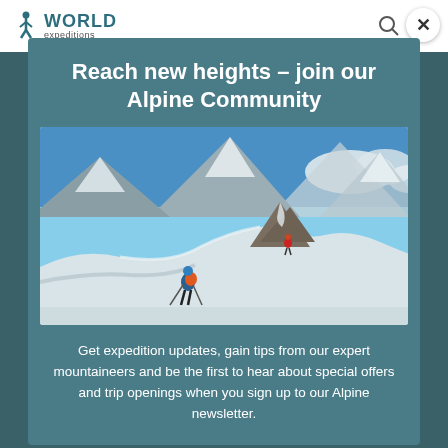[Figure (screenshot): World Expeditions website navigation bar with logo, search and contact icons]
Reach new heights – join our Alpine Community
[Figure (photo): Two mountaineers walking along a snow ridge with dramatic snow-covered peaks and blue sky in the background. The foreground climber wears a blue jacket and orange backpack and carries trekking poles.]
Get expedition updates, gain tips from our expert mountaineers and be the first to hear about special offers and trip openings when you sign up to our Alpine newsletter.